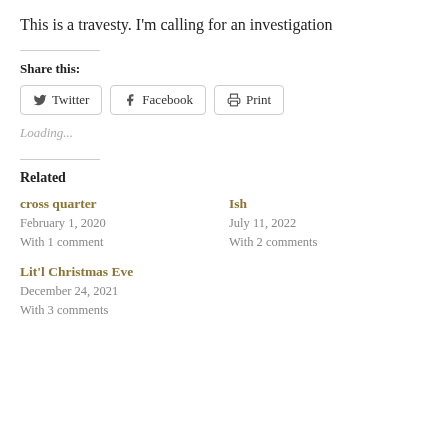This is a travesty.  I'm calling for an investigation
Share this:
Twitter  Facebook  Print
Loading...
Related
cross quarter
February 1, 2020
With 1 comment
Ish
July 11, 2022
With 2 comments
Lit'l Christmas Eve
December 24, 2021
With 3 comments